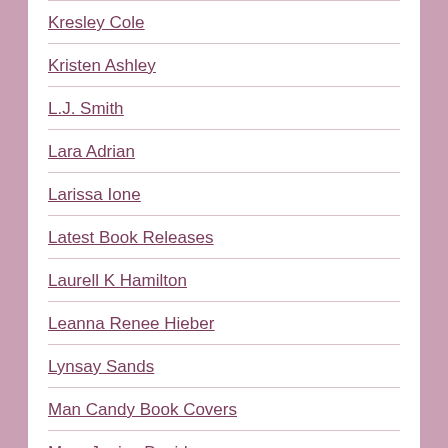Kresley Cole
Kristen Ashley
L.J. Smith
Lara Adrian
Larissa Ione
Latest Book Releases
Laurell K Hamilton
Leanna Renee Hieber
Lynsay Sands
Man Candy Book Covers
Mary Janice Davidson